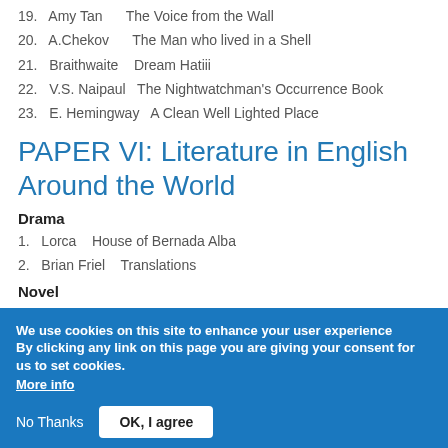19.   Amy Tan      The Voice from the Wall
20.   A.Chekov      The Man who lived in a Shell
21.   Braithwaite    Dream Hatiii
22.   V.S. Naipaul   The Nightwatchman's Occurrence Book
23.   E. Hemingway   A Clean Well Lighted Place
PAPER VI: Literature in English Around the World
Drama
1.   Lorca   House of Bernada Alba
2.   Brian Friel   Translations
Novel
1.   Ngugi   The River Between
We use cookies on this site to enhance your user experience
By clicking any link on this page you are giving your consent for us to set cookies.
More info
No Thanks   OK, I agree